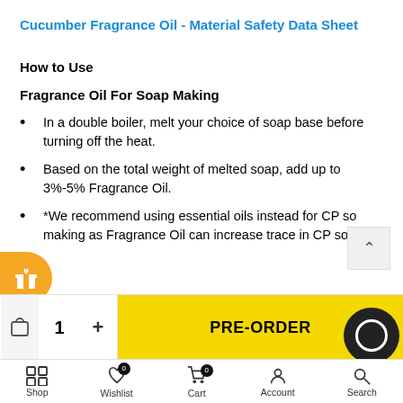Cucumber Fragrance Oil - Material Safety Data Sheet
How to Use
Fragrance Oil For Soap Making
In a double boiler, melt your choice of soap base before turning off the heat.
Based on the total weight of melted soap, add up to 3%-5% Fragrance Oil.
*We recommend using essential oils instead for CP so making as Fragrance Oil can increase trace in CP soap.
Shop  Wishlist  Cart  Account  Search